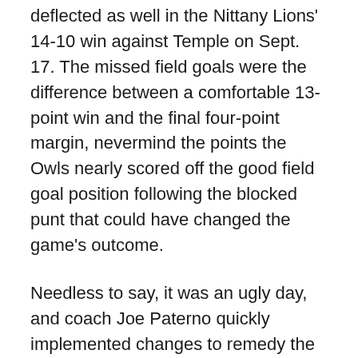deflected as well in the Nittany Lions' 14-10 win against Temple on Sept. 17. The missed field goals were the difference between a comfortable 13-point win and the final four-point margin, nevermind the points the Owls nearly scored off the good field goal position following the blocked punt that could have changed the game's outcome.
Needless to say, it was an ugly day, and coach Joe Paterno quickly implemented changes to remedy the struggles. Fera was named the starting kicker for the following week's game against Eastern Illinois, and since then, things have really turned around for the unit.
Fera responded by converting his only attempt against the Eagles before knocking three through the uprights